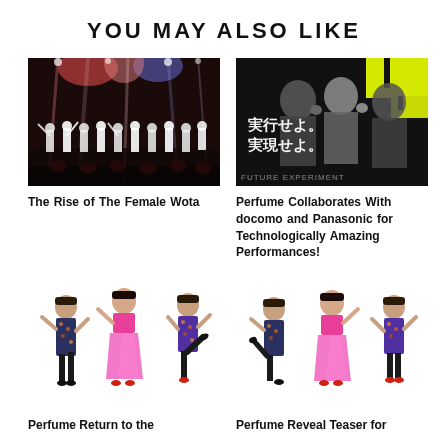YOU MAY ALSO LIKE
[Figure (photo): Concert photo showing female idol group performing on a brightly lit stage with red and blue lighting, performers in white dresses]
[Figure (photo): Perfume group photo with yellow/neon green background and Japanese text reading 実行せよ。実現せよ。FUTURE EXPERIMENT]
The Rise of The Female Wota
Perfume Collaborates With docomo and Panasonic for Technologically Amazing Performances!
[Figure (photo): Three Perfume members in colorful floral/kimono-style outfits dancing, poses showing movement]
[Figure (photo): Three Perfume members in same colorful floral/kimono-style outfits dancing, slightly different pose arrangement]
Perfume Return to the
Perfume Reveal Teaser for